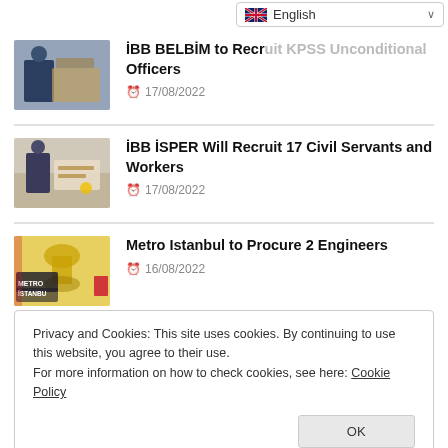[Figure (screenshot): English language selector dropdown in top right corner]
İBB BELBİM to Recruit KPSS Unconditional Officers
17/08/2022
[Figure (photo): Person working at a desk with laptop]
İBB İSPER Will Recruit 17 Civil Servants and Workers
17/08/2022
[Figure (logo): Metro Istanbul logo on yellow background]
Metro Istanbul to Procure 2 Engineers
16/08/2022
Privacy and Cookies: This site uses cookies. By continuing to use this website, you agree to their use.
For more information on how to check cookies, see here: Cookie Policy
ROPEWAY